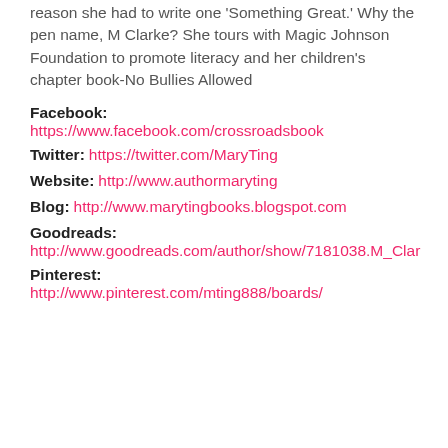reason she had to write one 'Something Great.' Why the pen name, M Clarke? She tours with Magic Johnson Foundation to promote literacy and her children's chapter book-No Bullies Allowed
Facebook: https://www.facebook.com/crossroadsbook
Twitter: https://twitter.com/MaryTing
Website: http://www.authormaryting
Blog: http://www.marytingbooks.blogspot.com
Goodreads: http://www.goodreads.com/author/show/7181038.M_Clar
Pinterest: http://www.pinterest.com/mting888/boards/